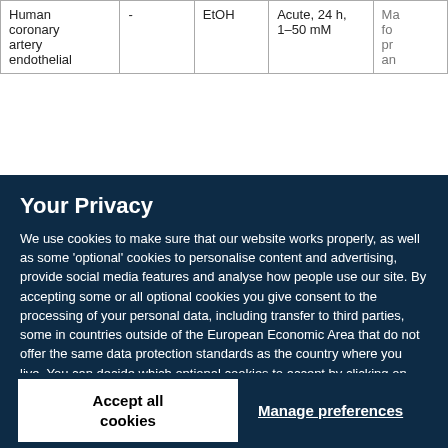| Human coronary artery endothelial | - | EtOH | Acute, 24 h, 1–50 mM | Ma... fo... pr... an... |
Your Privacy
We use cookies to make sure that our website works properly, as well as some 'optional' cookies to personalise content and advertising, provide social media features and analyse how people use our site. By accepting some or all optional cookies you give consent to the processing of your personal data, including transfer to third parties, some in countries outside of the European Economic Area that do not offer the same data protection standards as the country where you live. You can decide which optional cookies to accept by clicking on 'Manage Settings', where you can also find more information about how your personal data is processed. Further information can be found in our privacy policy.
Accept all cookies
Manage preferences